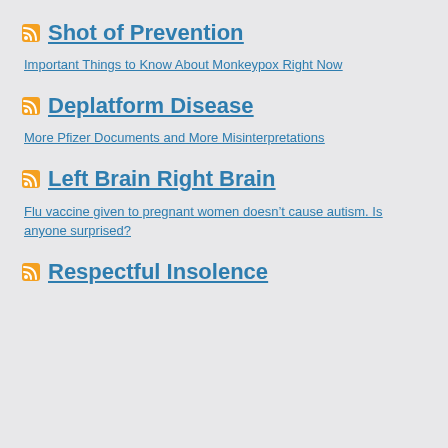Shot of Prevention
Important Things to Know About Monkeypox Right Now
Deplatform Disease
More Pfizer Documents and More Misinterpretations
Left Brain Right Brain
Flu vaccine given to pregnant women doesn't cause autism. Is anyone surprised?
Respectful Insolence